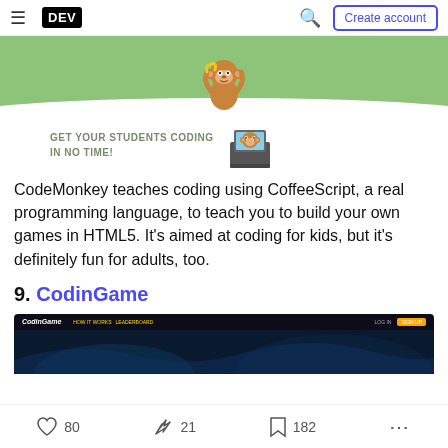DEV — Create account
[Figure (illustration): CodeMonkey banner with monkey holding banana on green background with white wave at bottom]
[Figure (illustration): GET YOUR STUDENTS CODING IN NO TIME! tagline with monkey at laptop illustration]
CodeMonkey teaches coding using CoffeeScript, a real programming language, to teach you to build your own games in HTML5. It's aimed at coding for kids, but it's definitely fun for adults, too.
9. CodinGame
[Figure (screenshot): CodinGame website screenshot showing dark gaming-themed header with logo, navigation, login and signup buttons]
80  21  182  ...